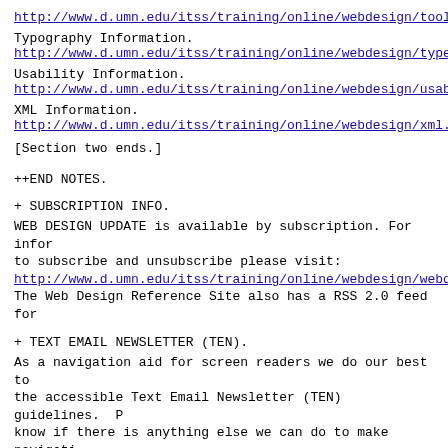http://www.d.umn.edu/itss/training/online/webdesign/tools
Typography Information.
http://www.d.umn.edu/itss/training/online/webdesign/type
Usability Information.
http://www.d.umn.edu/itss/training/online/webdesign/usab
XML Information.
http://www.d.umn.edu/itss/training/online/webdesign/xml.h
[Section two ends.]
++END NOTES.
+ SUBSCRIPTION INFO.
WEB DESIGN UPDATE is available by subscription. For infor to subscribe and unsubscribe please visit:
http://www.d.umn.edu/itss/training/online/webdesign/webde
The Web Design Reference Site also has a RSS 2.0 feed for
+ TEXT EMAIL NEWSLETTER (TEN).
As a navigation aid for screen readers we do our best to the accessible Text Email Newsletter (TEN) guidelines.  P know if there is anything else we can do to make navigati For TEN guideline information please visit: